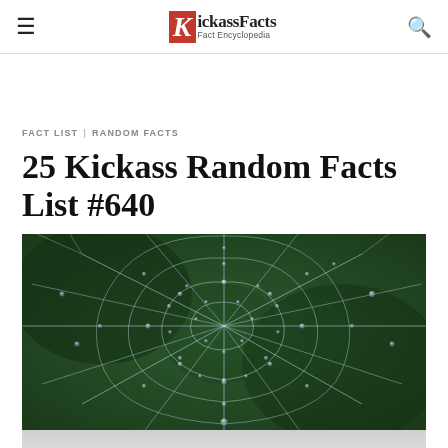KickassFacts Fact Encyclopedia
FACT LIST | RANDOM FACTS
25 Kickass Random Facts List #640
[Figure (photo): Close-up photograph of a spider web covered in water droplets against a dark green background, with a 'Close X' button overlay in the lower right.]